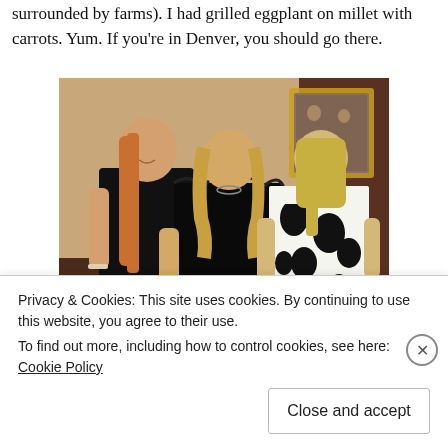surrounded by farms). I had grilled eggplant on millet with carrots. Yum. If you're in Denver, you should go there.
[Figure (photo): Three women posing together in formal/evening attire in a restaurant or event venue. Left woman wears a black dress, center woman wears a black ruffled dress, right woman wears a black-and-white floral strapless dress. Background shows warm beige walls, a gold-framed mirror, and dark wood paneling.]
This picture is not from last night or Duo, but it is of me and th
Privacy & Cookies: This site uses cookies. By continuing to use this website, you agree to their use.
To find out more, including how to control cookies, see here: Cookie Policy
Close and accept